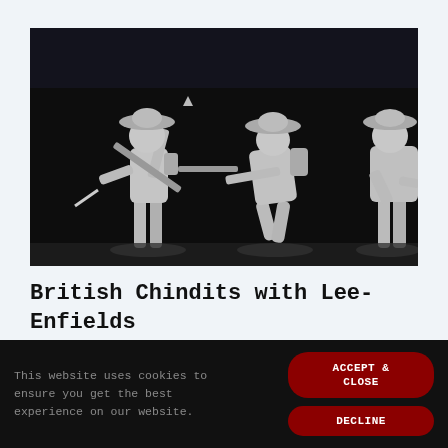[Figure (photo): Black and white photograph of three grey metal miniature soldier figurines (British Chindits) holding Lee-Enfield rifles and wearing wide-brimmed hats, posed on a dark/black background.]
British Chindits with Lee-Enfields and Backpacks
£7.95
This website uses cookies to ensure you get the best experience on our website.
ACCEPT & CLOSE
DECLINE